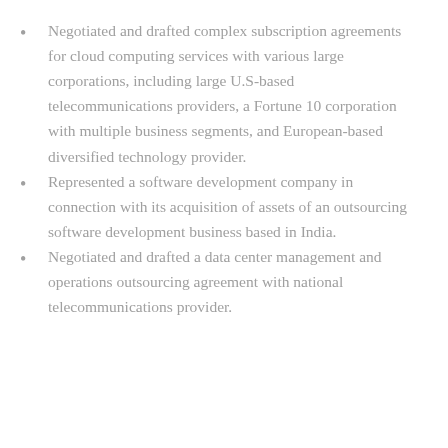Negotiated and drafted complex subscription agreements for cloud computing services with various large corporations, including large U.S-based telecommunications providers, a Fortune 10 corporation with multiple business segments, and European-based diversified technology provider.
Represented a software development company in connection with its acquisition of assets of an outsourcing software development business based in India.
Negotiated and drafted a data center management and operations outsourcing agreement with national telecommunications provider.